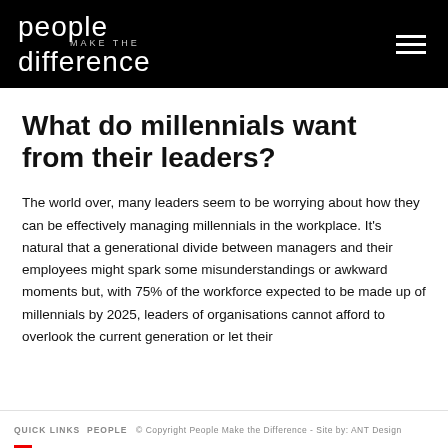people make the difference
What do millennials want from their leaders?
The world over, many leaders seem to be worrying about how they can be effectively managing millennials in the workplace. It’s natural that a generational divide between managers and their employees might spark some misunderstandings or awkward moments but, with 75% of the workforce expected to be made up of millennials by 2025, leaders of organisations cannot afford to overlook the current generation or let their
QUICK LINKS  PEOPLE  © Copyright People Make the Difference - Site by: ANT Design